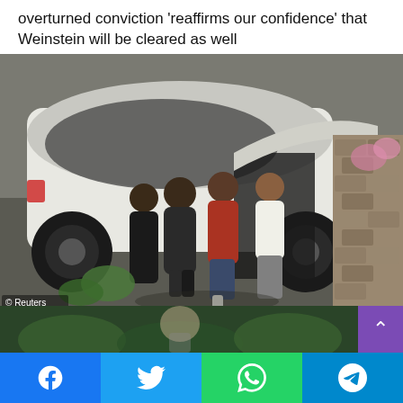overturned conviction 'reaffirms our confidence' that Weinstein will be cleared as well
[Figure (photo): Bill Cosby being helped out of a car by several people upon arriving at his home after release from prison. A white SUV is visible, along with a stone wall and garden in the background. Reuters watermark in bottom left corner.]
Bill Cosby arrives at his home directly after his release from prison on Wednesday.
[Figure (photo): Partial view of another photo, showing green foliage and a blurred figure, cut off at bottom of page.]
Facebook | Twitter | WhatsApp | Telegram share buttons